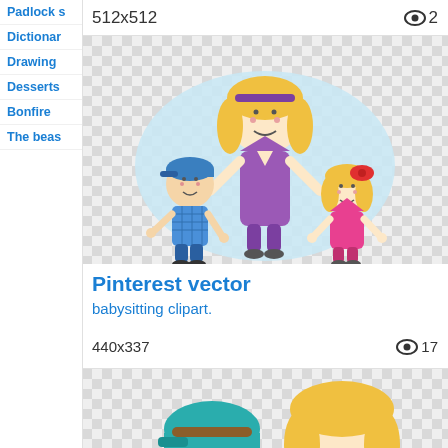Padlock s
Dictionar
Drawing
Desserts
Bonfire
The beas
512x512
👁 2
[Figure (illustration): Cartoon clipart of a mother with two children — a boy in a blue cap and checkered shirt on the left, a tall woman in a purple dress in the center, and a girl in a pink dress with a red bow on the right. Light blue blob background, on a checkered transparent background.]
Pinterest vector
babysitting clipart.
440x337
👁 17
[Figure (illustration): Cartoon clipart showing a boy in a teal cap and a blonde girl, both partially visible at the bottom of the image, on a checkered transparent background.]